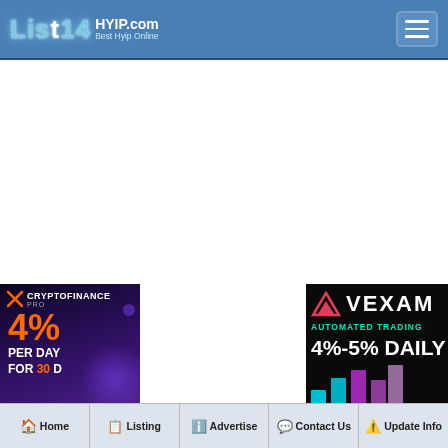[Figure (screenshot): List4HYIP.com website header with logo on left and hamburger menu icon on right, on a steel blue background]
[Figure (infographic): CryptoFinance PRO advertisement banner: 4% per day for 30 days, dark purple gradient background with orange text]
[Figure (infographic): VEXAM Automated Trading advertisement: 4%-5% Daily, black background with cyan text and bar chart graphic]
Home   Listing   Advertise   Contact Us   Update Info